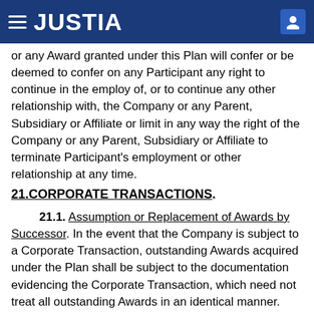JUSTIA
or any Award granted under this Plan will confer or be deemed to confer on any Participant any right to continue in the employ of, or to continue any other relationship with, the Company or any Parent, Subsidiary or Affiliate or limit in any way the right of the Company or any Parent, Subsidiary or Affiliate to terminate Participant's employment or other relationship at any time.
21. CORPORATE TRANSACTIONS.
21.1. Assumption or Replacement of Awards by Successor. In the event that the Company is subject to a Corporate Transaction, outstanding Awards acquired under the Plan shall be subject to the documentation evidencing the Corporate Transaction, which need not treat all outstanding Awards in an identical manner. Such agreement, without the Participant's consent, shall